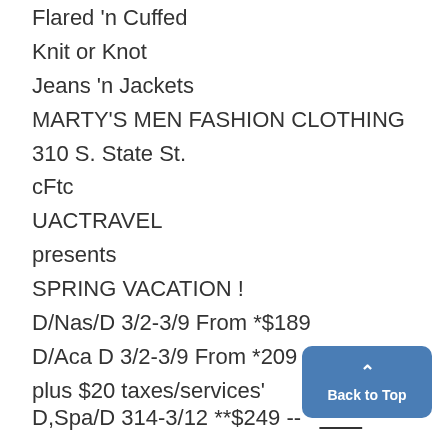Flared 'n Cuffed
Knit or Knot
Jeans 'n Jackets
MARTY'S MEN FASHION CLOTHING
310 S. State St.
cFtc
UACTRAVEL
presents
SPRING VACATION !
D/Nas/D 3/2-3/9 From *$189
D/Aca D 3/2-3/9 From *209
plus $20 taxes/services'
D,Spa/D 314-3/12 **$249 --